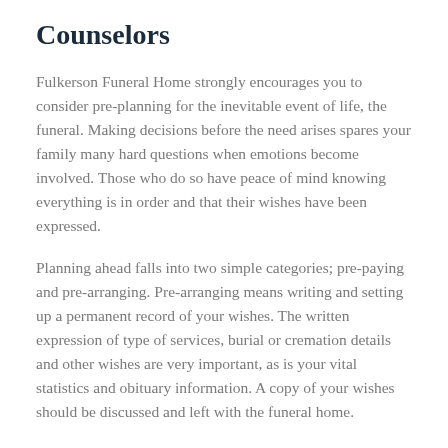Counselors
Fulkerson Funeral Home strongly encourages you to consider pre-planning for the inevitable event of life, the funeral. Making decisions before the need arises spares your family many hard questions when emotions become involved. Those who do so have peace of mind knowing everything is in order and that their wishes have been expressed.
Planning ahead falls into two simple categories; pre-paying and pre-arranging. Pre-arranging means writing and setting up a permanent record of your wishes. The written expression of type of services, burial or cremation details and other wishes are very important, as is your vital statistics and obituary information. A copy of your wishes should be discussed and left with the funeral home.
Pre-paying for your funeral before the need arises is a very